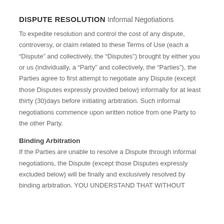DISPUTE RESOLUTION
Informal Negotiations
To expedite resolution and control the cost of any dispute, controversy, or claim related to these Terms of Use (each a “Dispute” and collectively, the “Disputes”) brought by either you or us (individually, a “Party” and collectively, the “Parties”), the Parties agree to first attempt to negotiate any Dispute (except those Disputes expressly provided below) informally for at least thirty (30)days before initiating arbitration. Such informal negotiations commence upon written notice from one Party to the other Party.
Binding Arbitration
If the Parties are unable to resolve a Dispute through informal negotiations, the Dispute (except those Disputes expressly excluded below) will be finally and exclusively resolved by binding arbitration. YOU UNDERSTAND THAT WITHOUT